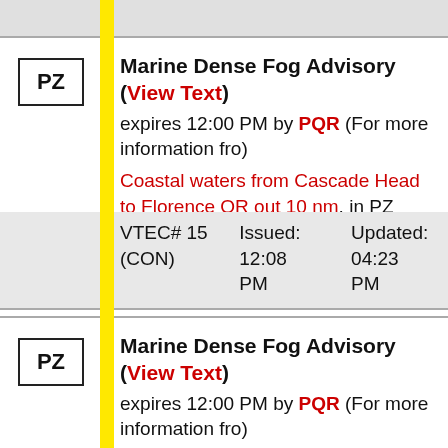Marine Dense Fog Advisory (View Text) expires 12:00 PM by PQR (For more information fro)
Coastal waters from Cascade Head to Florence OR out 10 nm, in PZ
VTEC# 15 (CON)  Issued: 12:08 PM  Updated: 04:23 PM
Marine Dense Fog Advisory (View Text) expires 12:00 PM by PQR (For more information fro)
Columbia River Bar, Coastal waters from Cape Shoalwater WA to Cascade Head OR out 10 nm, in PZ
VTEC# 15 (EXT)  Issued: 12:08 PM  Updated: 04:23 PM